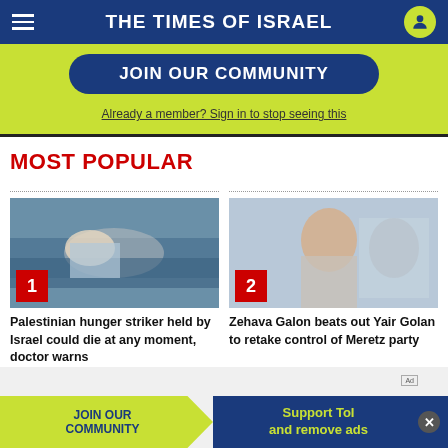THE TIMES OF ISRAEL
JOIN OUR COMMUNITY
Already a member? Sign in to stop seeing this
MOST POPULAR
[Figure (photo): Palestinian hunger striker lying on a hospital bed covered with blue cloth, rank badge 1]
Palestinian hunger striker held by Israel could die at any moment, doctor warns
[Figure (photo): Zehava Galon, a woman speaking at a campaign event, hand on chest, rank badge 2]
Zehava Galon beats out Yair Golan to retake control of Meretz party
JOIN OUR COMMUNITY
Support ToI and remove ads